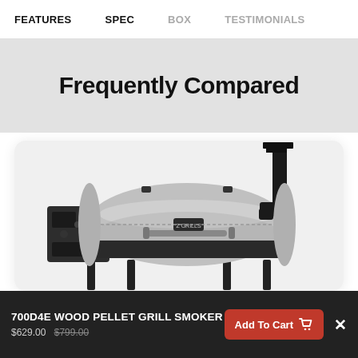FEATURES  SPEC  BOX  TESTIMONIALS
Frequently Compared
[Figure (photo): A Z Grills 700D4E wood pellet grill smoker shown from the side, with a stainless steel barrel body, black side shelf with controls, and a vertical chimney stack on the right.]
700D4E WOOD PELLET GRILL SMOKER $629.00 $799.00 Add To Cart ×